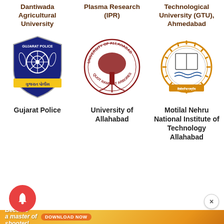Dantiwada Agricultural University
Plasma Research (IPR)
Technological University (GTU), Ahmedabad
[Figure (logo): Gujarat Police shield badge logo — dark blue badge with text GUJARAT POLICE and yellow banner]
[Figure (logo): University of Allahabad circular seal — red circular logo with tree motif and text UNIVERSITY OF ALLAHABAD, QUOT RAMI TOT ARBORES]
[Figure (logo): Motilal Nehru National Institute of Technology Allahabad circular gear-bordered logo with book and water motif]
Gujarat Police
University of Allahabad
Motilal Nehru National Institute of Technology Allahabad
[Figure (other): Red circular notification bell button]
[Figure (other): White circular close X button]
[Figure (other): Advertisement banner: Become a master of shooter! DOWNLOAD NOW — game app ad with orange/gold background and cartoon characters]